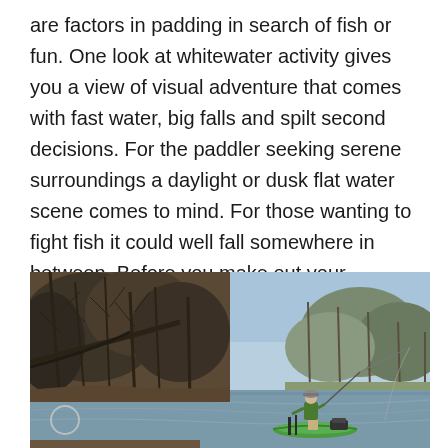are factors in padding in search of fish or fun. One look at whitewater activity gives you a view of visual adventure that comes with fast water, big falls and spilt second decisions. For the paddler seeking serene surroundings a daylight or dusk flat water scene comes to mind. For those wanting to fight fish it could well fall somewhere in between. Before you make out your Christmas list read on please.
[Figure (photo): A person standing on a kayak/small boat fishing on a calm river, surrounded by bare winter trees on both banks under a clear blue sky.]